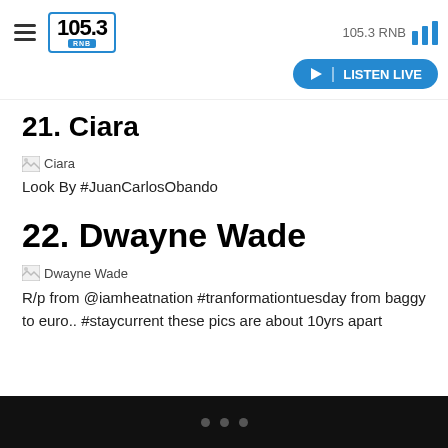105.3 RNB — LISTEN LIVE
21. Ciara
[Figure (photo): Broken image placeholder labeled 'Ciara']
Look By #JuanCarlosObando
22. Dwayne Wade
[Figure (photo): Broken image placeholder labeled 'Dwayne Wade']
R/p from @iamheatnation #tranformationtuesday from baggy to euro.. #staycurrent these pics are about 10yrs apart
• • •